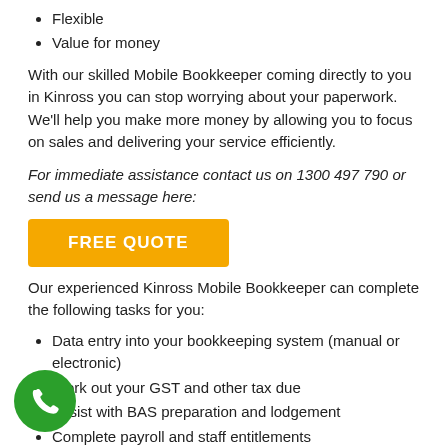Flexible
Value for money
With our skilled Mobile Bookkeeper coming directly to you in Kinross you can stop worrying about your paperwork.  We'll help you make more money by allowing you to focus on sales and delivering your service efficiently.
For immediate assistance contact us on 1300 497 790 or send us a message here:
[Figure (other): Orange FREE QUOTE button]
Our experienced Kinross Mobile Bookkeeper can complete the following tasks for you:
Data entry into your bookkeeping system (manual or electronic)
Work out your GST and other tax due
Assist with BAS preparation and lodgement
Complete payroll and staff entitlements
Complete accounts receivable
Complete accounts payable (help you to manage supplier payments)